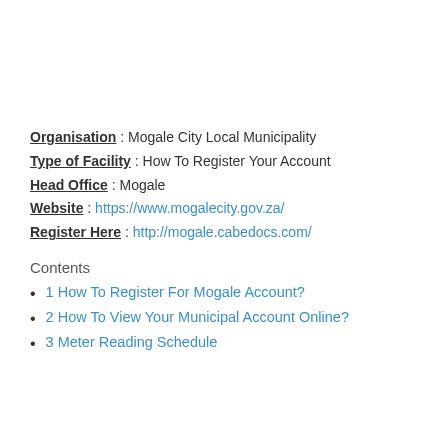Organisation : Mogale City Local Municipality
Type of Facility : How To Register Your Account
Head Office : Mogale
Website : https://www.mogalecity.gov.za/
Register Here : http://mogale.cabedocs.com/
Contents
1 How To Register For Mogale Account?
2 How To View Your Municipal Account Online?
3 Meter Reading Schedule